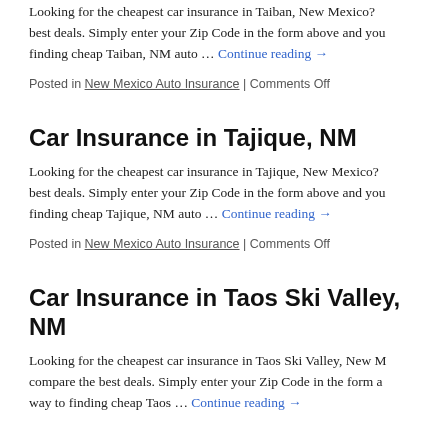Looking for the cheapest car insurance in Taiban, New Mexico? … best deals. Simply enter your Zip Code in the form above and you … finding cheap Taiban, NM auto … Continue reading →
Posted in New Mexico Auto Insurance | Comments Off
Car Insurance in Tajique, NM
Looking for the cheapest car insurance in Tajique, New Mexico? … best deals. Simply enter your Zip Code in the form above and you … finding cheap Tajique, NM auto … Continue reading →
Posted in New Mexico Auto Insurance | Comments Off
Car Insurance in Taos Ski Valley, NM
Looking for the cheapest car insurance in Taos Ski Valley, New M… compare the best deals. Simply enter your Zip Code in the form a… way to finding cheap Taos … Continue reading →